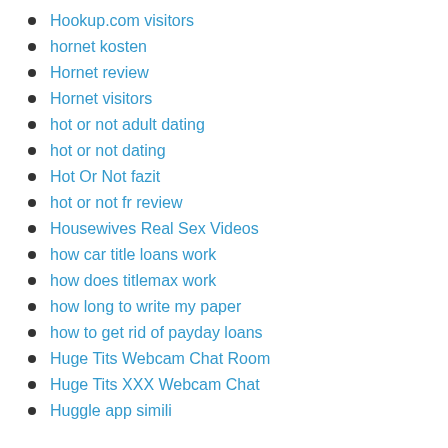Hookup.com visitors
hornet kosten
Hornet review
Hornet visitors
hot or not adult dating
hot or not dating
Hot Or Not fazit
hot or not fr review
Housewives Real Sex Videos
how car title loans work
how does titlemax work
how long to write my paper
how to get rid of payday loans
Huge Tits Webcam Chat Room
Huge Tits XXX Webcam Chat
Huggle app simili